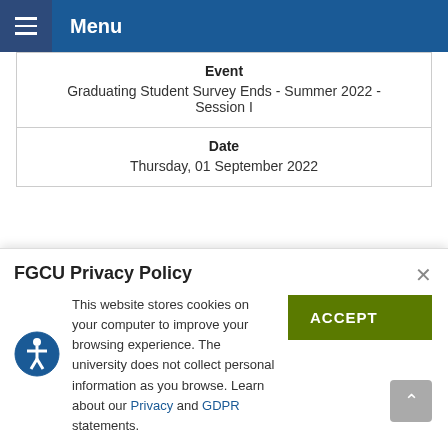Menu
| Event | Date |
| --- | --- |
| Graduating Student Survey Ends - Summer 2022 - Session I | Thursday, 01 September 2022 |
1.For priority group registration dates, go to Eagle
FGCU Privacy Policy
This website stores cookies on your computer to improve your browsing experience. The university does not collect personal information as you browse. Learn about our Privacy and GDPR statements.